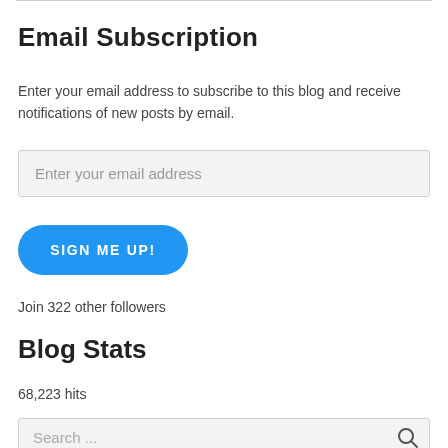Email Subscription
Enter your email address to subscribe to this blog and receive notifications of new posts by email.
Enter your email address
SIGN ME UP!
Join 322 other followers
Blog Stats
68,223 hits
Search ...